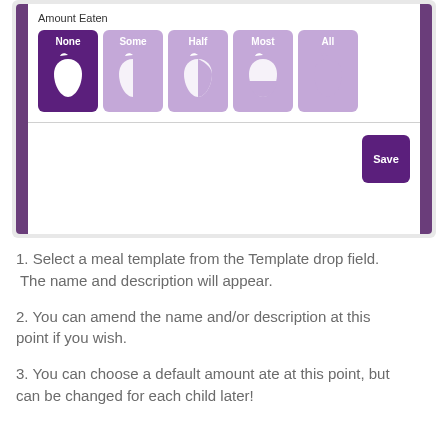[Figure (screenshot): A UI screenshot showing 'Amount Eaten' with five food amount buttons (None, Some, Half, Most, All) each with an apple icon showing increasing portions, and a Save button at the bottom right.]
1. Select a meal template from the Template drop field. The name and description will appear.
2. You can amend the name and/or description at this point if you wish.
3. You can choose a default amount ate at this point, but can be changed for each child later!